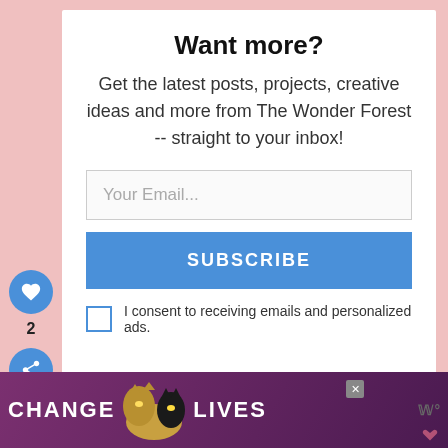Want more?
Get the latest posts, projects, creative ideas and more from The Wonder Forest -- straight to your inbox!
[Figure (screenshot): Email subscription form with 'Your Email...' input field, blue SUBSCRIBE button, and a consent checkbox saying 'I consent to receiving emails and personalized ads.']
[Figure (screenshot): Left sidebar with blue heart/like button, count '2', and blue share button]
WHAT'S NEXT →
Golden Sunrise Eye...
[Figure (screenshot): Ad banner at bottom with text CHANGE LIVES on purple/maroon background with cat images]